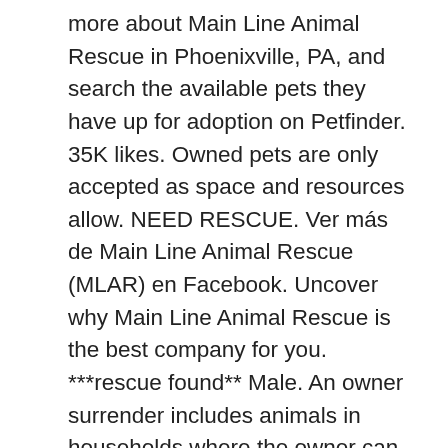more about Main Line Animal Rescue in Phoenixville, PA, and search the available pets they have up for adoption on Petfinder. 35K likes. Owned pets are only accepted as space and resources allow. NEED RESCUE. Ver más de Main Line Animal Rescue (MLAR) en Facebook. Uncover why Main Line Animal Rescue is the best company for you. ***rescue found** Male. An owner surrender includes animals in households where the owner can no longer care for the pet, as well as stray or abandoned pets. We never discriminate on the basis of health, age or breed. 1,951 talking about this. Páginas relacionadas. Main Line Animal Rescue is more than an adoption center - they work to end the cycle of animal homelessness and improve the treatment of companion animals through innovative care and advocacy. 5452 NE 22nd St., Des Moines, IA 50313 Please share and contact us if you can take them on. Although we'd love to help every animal in need, due to our limited number of foster homes we